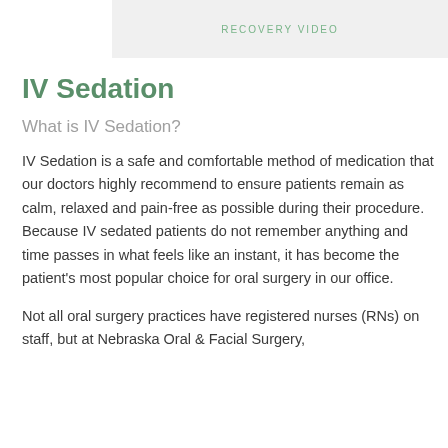[Figure (other): Recovery video placeholder box with label 'RECOVERY VIDEO' in green text]
IV Sedation
What is IV Sedation?
IV Sedation is a safe and comfortable method of medication that our doctors highly recommend to ensure patients remain as calm, relaxed and pain-free as possible during their procedure. Because IV sedated patients do not remember anything and time passes in what feels like an instant, it has become the patient's most popular choice for oral surgery in our office.
Not all oral surgery practices have registered nurses (RNs) on staff, but at Nebraska Oral & Facial Surgery,